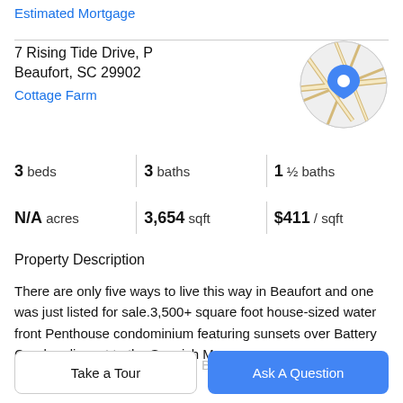Estimated Mortgage
7 Rising Tide Drive, P
Beaufort, SC 29902
Cottage Farm
[Figure (map): Circular map thumbnail showing a street map with a blue location pin marker in the center, over roads and terrain.]
| 3 beds | 3 baths | 1 ½ baths |
| N/A acres | 3,654 sqft | $411 / sqft |
Property Description
There are only five ways to live this way in Beaufort and one was just listed for sale.3,500+ square foot house-sized water front Penthouse condominium featuring sunsets over Battery Creek, adjacent to the Spanish Moss
Trail, near downtown Beaufort, Beaufort Memorial